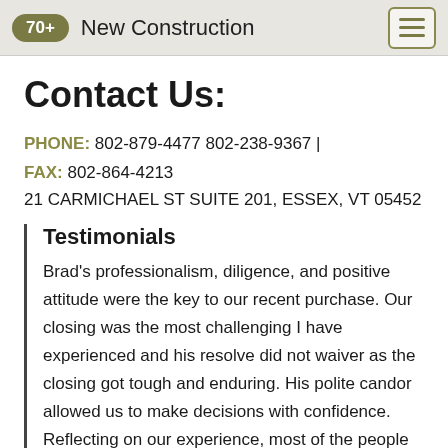70+ New Construction
Contact Us:
PHONE: 802-879-4477 802-238-9367 | FAX: 802-864-4213
21 CARMICHAEL ST SUITE 201, ESSEX, VT 05452
Testimonials
Brad's professionalism, diligence, and positive attitude were the key to our recent purchase. Our closing was the most challenging I have experienced and his resolve did not waiver as the closing got tough and enduring. His polite candor allowed us to make decisions with confidence. Reflecting on our experience, most of the people we had to work with required constant attention to get [...]